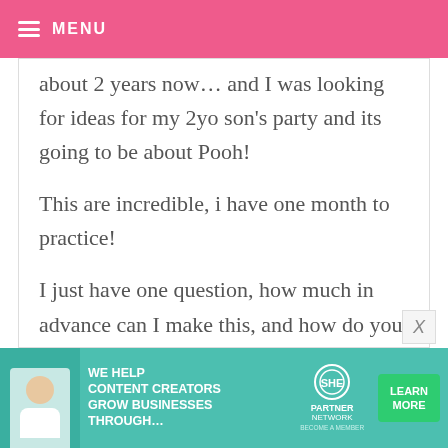MENU
about 2 years now... and I was looking for ideas for my 2yo son's party and its going to be about Pooh!

This are incredible, i have one month to practice!

I just have one question, how much in advance can I make this, and how do you store it?

Greetings from Mexico!! :D
[Figure (infographic): Advertisement banner for SHE Media Partner Network with tagline: WE HELP CONTENT CREATORS GROW BUSINESSES THROUGH... with a LEARN MORE button]